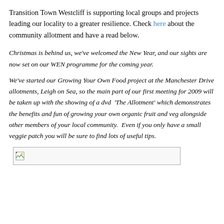Transition Town Westcliff is supporting local groups and projects leading our locality to a greater resilience. Check here about the community allotment and have a read below.
Christmas is behind us, we've welcomed the New Year, and our sights are now set on our WEN programme for the coming year.
We've started our Growing Your Own Food project at the Manchester Drive allotments, Leigh on Sea, so the main part of our first meeting for 2009 will be taken up with the showing of a dvd  'The Allotment' which demonstrates the benefits and fun of growing your own organic fruit and veg alongside other members of your local community.  Even if you only have a small veggie patch you will be sure to find lots of useful tips.
[Figure (other): Broken/placeholder image thumbnail]